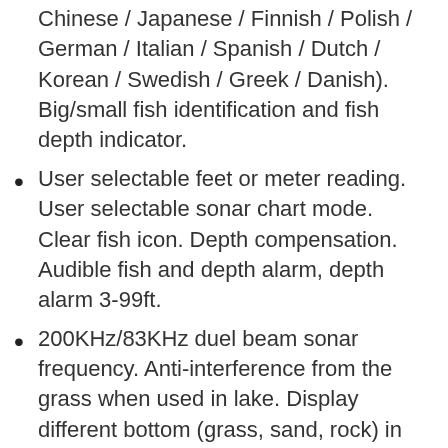Chinese / Japanese / Finnish / Polish / German / Italian / Spanish / Dutch / Korean / Swedish / Greek / Danish). Big/small fish identification and fish depth indicator.
User selectable feet or meter reading. User selectable sonar chart mode. Clear fish icon. Depth compensation. Audible fish and depth alarm, depth alarm 3-99ft.
200KHz/83KHz duel beam sonar frequency. Anti-interference from the grass when used in lake. Display different bottom (grass, sand, rock) in the sea. 800 watts maximum output power; 100 watts RMS power. Battery strength indicator. Perfect for ocean, river, lake fishing, etc.. 800 watts maximum output power; 100 watts RMS power. Battery